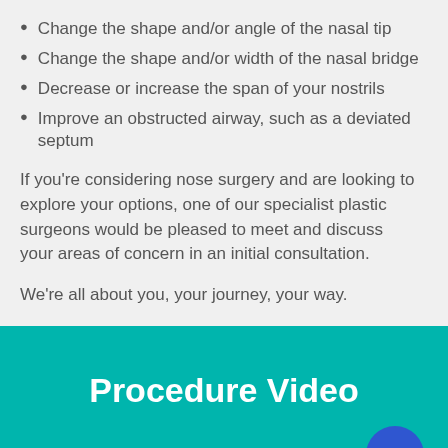Change the shape and/or angle of the nasal tip
Change the shape and/or width of the nasal bridge
Decrease or increase the span of your nostrils
Improve an obstructed airway, such as a deviated septum
If you're considering nose surgery and are looking to explore your options, one of our specialist plastic surgeons would be pleased to meet and discuss your areas of concern in an initial consultation.
We're all about you, your journey, your way.
Procedure Video